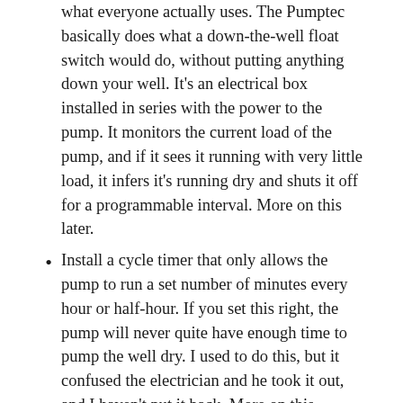what everyone actually uses. The Pumptec basically does what a down-the-well float switch would do, without putting anything down your well. It's an electrical box installed in series with the power to the pump. It monitors the current load of the pump, and if it sees it running with very little load, it infers it's running dry and shuts it off for a programmable interval. More on this later.
Install a cycle timer that only allows the pump to run a set number of minutes every hour or half-hour. If you set this right, the pump will never quite have enough time to pump the well dry. I used to do this, but it confused the electrician and he took it out, and I haven't put it back. More on this method later.
Use a smaller pump that can't over-pump your well. The 3/4 horsepower submersible pumps I